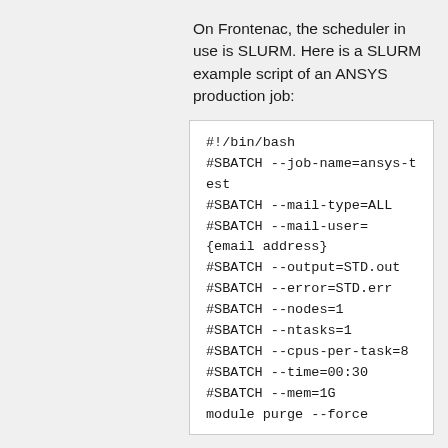On Frontenac, the scheduler in use is SLURM. Here is a SLURM example script of an ANSYS production job:
#!/bin/bash
#SBATCH --job-name=ansys-test
#SBATCH --mail-type=ALL
#SBATCH --mail-user={email address}
#SBATCH --output=STD.out
#SBATCH --error=STD.err
#SBATCH --nodes=1
#SBATCH --ntasks=1
#SBATCH --cpus-per-task=8
#SBATCH --time=00:30
#SBATCH --mem=1G
module purge --force